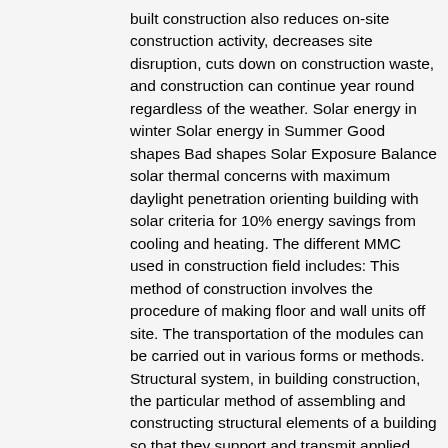built construction also reduces on-site construction activity, decreases site disruption, cuts down on construction waste, and construction can continue year round regardless of the weather. Solar energy in winter Solar energy in Summer Good shapes Bad shapes Solar Exposure Balance solar thermal concerns with maximum daylight penetration orienting building with solar criteria for 10% energy savings from cooling and heating. The different MMC used in construction field includes: This method of construction involves the procedure of making floor and wall units off site. The transportation of the modules can be carried out in various forms or methods. Structural system, in building construction, the particular method of assembling and constructing structural elements of a building so that they support and transmit applied loads safely to the ground without exceeding the allowable stresses in the members.Basic types of systems include bearing-wall, post-and-lintel, frame, membrane, and suspension. In November 2005, again in the midst of a housing crisis, The National Audit